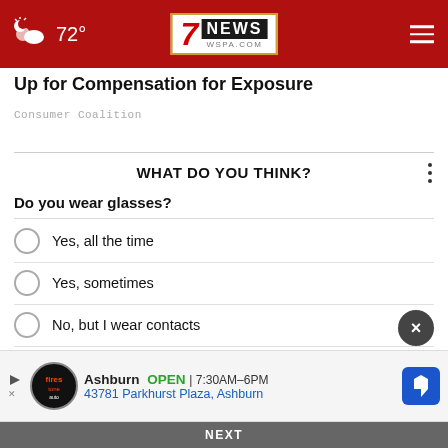72° | 7News WSPA.COM
Up for Compensation for Exposure
Consumer Coalition
WHAT DO YOU THINK?
Do you wear glasses?
Yes, all the time
Yes, sometimes
No, but I wear contacts
No, I never wear glasses
Does not apply
[Figure (other): Advertisement for Firestone Auto in Ashburn: OPEN 7:30AM–6PM, 43781 Parkhurst Plaza, Ashburn]
NEXT